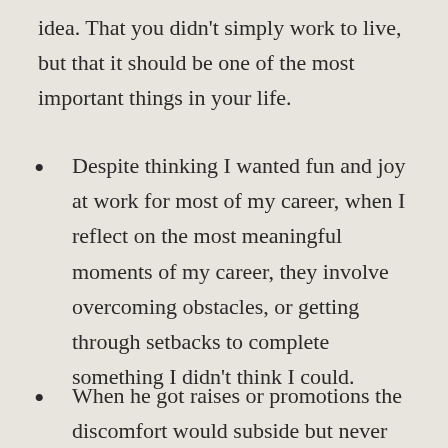idea. That you didn't simply work to live, but that it should be one of the most important things in your life.
Despite thinking I wanted fun and joy at work for most of my career, when I reflect on the most meaningful moments of my career, they involve overcoming obstacles, or getting through setbacks to complete something I didn't think I could.
When he got raises or promotions the discomfort would subside but never